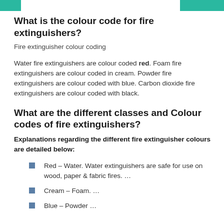What is the colour code for fire extinguishers?
Fire extinguisher colour coding
Water fire extinguishers are colour coded red. Foam fire extinguishers are colour coded in cream. Powder fire extinguishers are colour coded with blue. Carbon dioxide fire extinguishers are colour coded with black.
What are the different classes and Colour codes of fire extinguishers?
Explanations regarding the different fire extinguisher colours are detailed below:
Red – Water. Water extinguishers are safe for use on wood, paper & fabric fires. …
Cream – Foam. …
Blue – Powder …